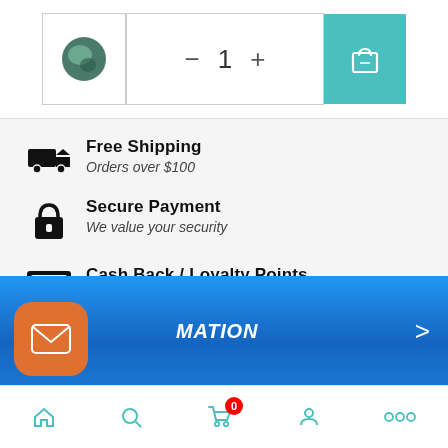[Figure (screenshot): E-commerce product page top bar with product thumbnail, quantity selector (minus, 1, plus), and teal shopping bag cart button]
Free Shipping — Orders over $100
Secure Payment — We value your security
Cash Back / Loyalty Points — Earn store credit with your purchase
24/7 Customer Service — Support number 001 (541) 815-3209
[Figure (screenshot): Blue ocean water banner with italic white text 'MATION' and a right chevron arrow]
[Figure (screenshot): Bottom navigation bar with search, cart (badge 0), account, and more icons in teal; orange mail floating button on left]